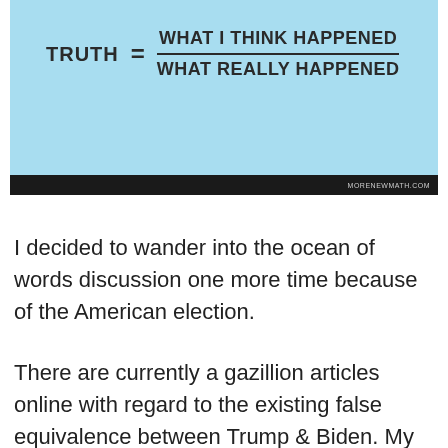[Figure (infographic): Light blue box showing the formula: TRUTH = WHAT I THINK HAPPENED / WHAT REALLY HAPPENED, with a black bar at the bottom containing the watermark morenewmath.com]
I decided to wander into the ocean of words discussion one more time because of the American election.
There are currently a gazillion articles online with regard to the existing false equivalence between Trump & Biden. My version is slightly different. It is about